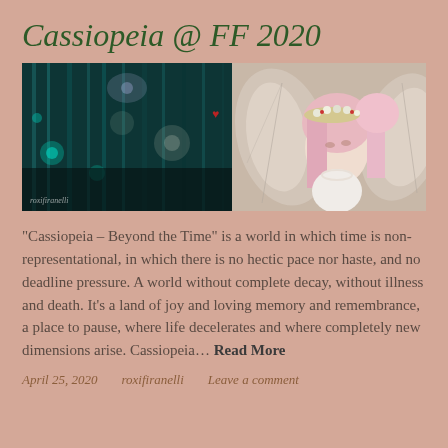Cassiopeia @ FF 2020
[Figure (photo): Fantasy fairy character with pink hair and flower crown, white wings, set against a dark teal forest background with glowing dandelions and sparkles. Watermark text 'roxifiranelli' in bottom left.]
“Cassiopeia – Beyond the Time” is a world in which time is non-representational, in which there is no hectic pace nor haste, and no deadline pressure. A world without complete decay, without illness and death. It’s a land of joy and loving memory and remembrance, a place to pause, where life decelerates and where completely new dimensions arise.  Cassiopeia…  Read More
April 25, 2020     roxifiranelli     Leave a comment